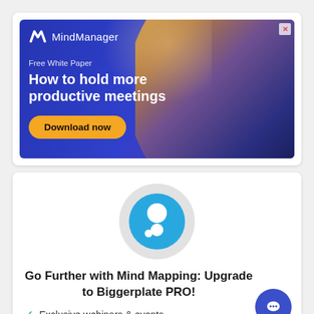[Figure (infographic): MindManager advertisement banner with blue/purple gradient background, person photo on right, MindManager logo, 'Free White Paper' text, headline 'How to hold more productive meetings', and orange 'Download now' button]
[Figure (logo): Biggerplate app icon: blue circle with white dots on grey circular background]
Go Further with Mind Mapping: Upgrade to Biggerplate PRO!
Exclusive webinars & events